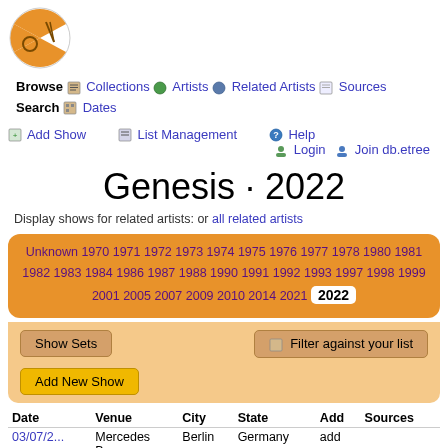Browse Collections Artists Related Artists Sources Search Dates
Add Show   List Management   Help   Login   Join db.etree
Genesis · 2022
Display shows for related artists: or all related artists
Unknown 1970 1971 1972 1973 1974 1975 1976 1977 1978 1980 1981 1982 1983 1984 1986 1987 1988 1990 1991 1992 1993 1997 1998 1999 2001 2005 2007 2009 2010 2014 2021 2022
Show Sets   Filter against your list   Add New Show
| Date | Venue | City | State | Add | Sources |
| --- | --- | --- | --- | --- | --- |
| 03/07/2... | Mercedes Benz... | Berlin | Germany | add |  |